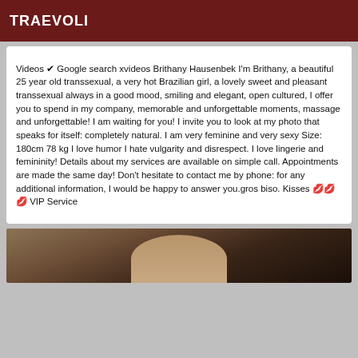TRAEVOLI
Videos ✔ Google search xvideos Brithany Hausenbek I'm Brithany, a beautiful 25 year old transsexual, a very hot Brazilian girl, a lovely sweet and pleasant transsexual always in a good mood, smiling and elegant, open cultured, I offer you to spend in my company, memorable and unforgettable moments, massage and unforgettable! I am waiting for you! I invite you to look at my photo that speaks for itself: completely natural. I am very feminine and very sexy Size: 180cm 78 kg I love humor I hate vulgarity and disrespect. I love lingerie and femininity! Details about my services are available on simple call. Appointments are made the same day! Don't hesitate to contact me by phone: for any additional information, I would be happy to answer you.gros biso. Kisses 💋💋💋 VIP Service
[Figure (photo): Partial photo at bottom of page, appears to show legs with black strappy heels/sandals against a dark background]